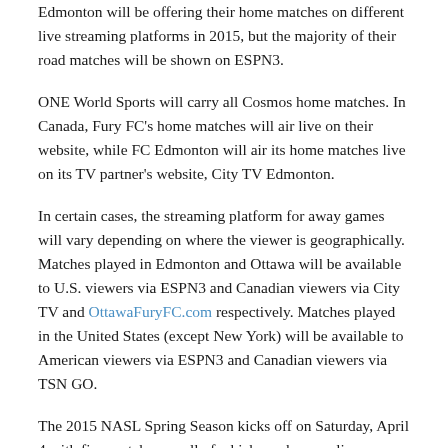Edmonton will be offering their home matches on different live streaming platforms in 2015, but the majority of their road matches will be shown on ESPN3.
ONE World Sports will carry all Cosmos home matches. In Canada, Fury FC's home matches will air live on their website, while FC Edmonton will air its home matches live on its TV partner's website, City TV Edmonton.
In certain cases, the streaming platform for away games will vary depending on where the viewer is geographically. Matches played in Edmonton and Ottawa will be available to U.S. viewers via ESPN3 and Canadian viewers via City TV and OttawaFuryFC.com respectively. Matches played in the United States (except New York) will be available to American viewers via ESPN3 and Canadian viewers via TSN GO.
The 2015 NASL Spring Season kicks off on Saturday, April 4 with five matches — all of which can be seen live on